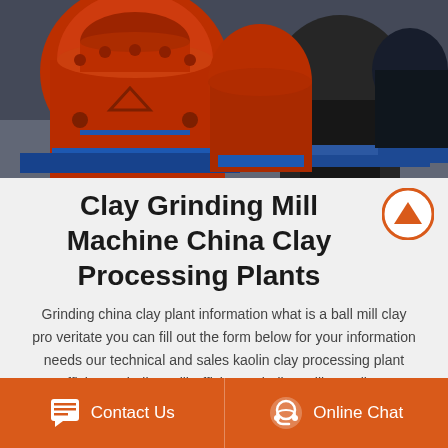[Figure (photo): Industrial grinding mill machines in orange and blue colors inside a factory/warehouse setting]
Clay Grinding Mill Machine China Clay Processing Plants
Grinding china clay plant information what is a ball mill clay pro veritate you can fill out the form below for your information needs our technical and sales kaolin clay processing plant Efficient Grinding Mill Efficient Grinding Mill Suppliers.
Contact Us   Online Chat